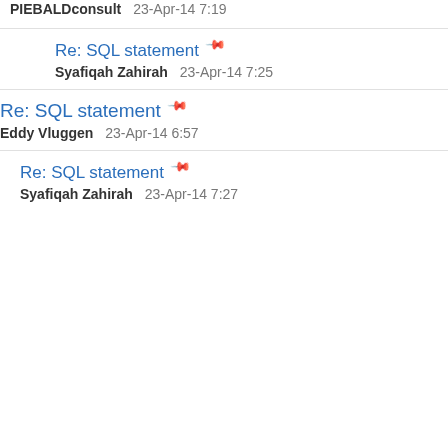PIEBALDconsult   23-Apr-14 7:19
Re: SQL statement
Syafiqah Zahirah   23-Apr-14 7:25
Re: SQL statement
Eddy Vluggen   23-Apr-14 6:57
Re: SQL statement
Syafiqah Zahirah   23-Apr-14 7:27
Like every other website we use cookies. By using our site you acknowledge that you have read and understand our Cookie Policy, Privacy Policy, and our Terms of Service.
Learn more
Ask me later   Decline   Allow cookies